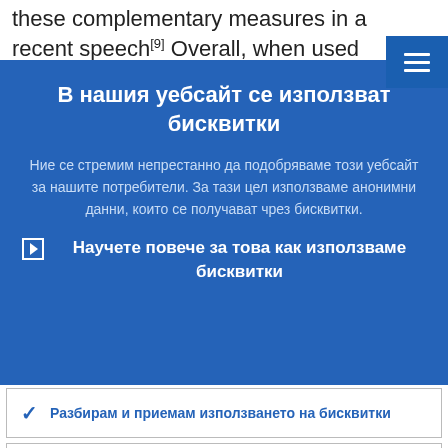these complementary measures in a recent speech [9] Overall, when used in
В нашия уебсайт се използват бисквитки
Ние се стремим непрестанно да подобряваме този уебсайт за нашите потребители. За тази цел използваме анонимни данни, които се получават чрез бисквитки.
▶ Научете повече за това как използваме бисквитки
✓ Разбирам и приемам използването на бисквитки
✕ Не приемам използването на бисквитки